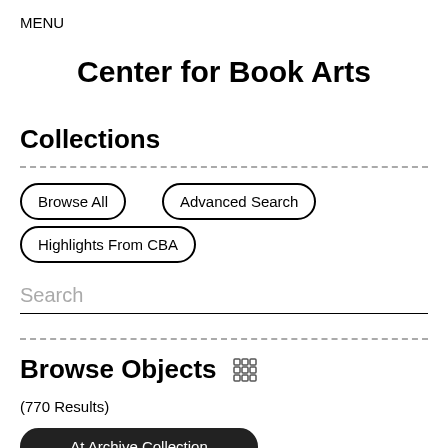MENU
Center for Book Arts
Collections
Browse All
Advanced Search
Highlights From CBA
Search
Browse Objects
(770 Results)